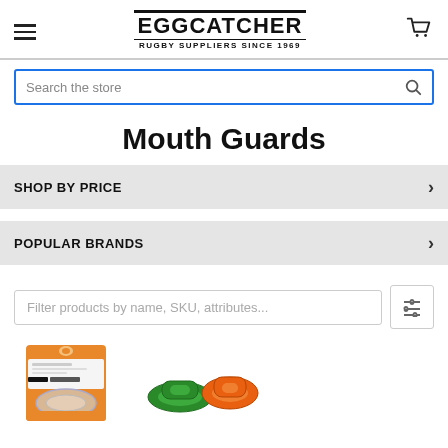EGGCATCHER RUGBY SUPPLIERS SINCE 1969
Search the store
Mouth Guards
SHOP BY PRICE
POPULAR BRANDS
Filter products by name, SKU, attributes...
[Figure (photo): Two mouth guard product images: left shows a packaged transparent/clear mouthguard in retail packaging, right shows two mouthguards in green and orange colors.]